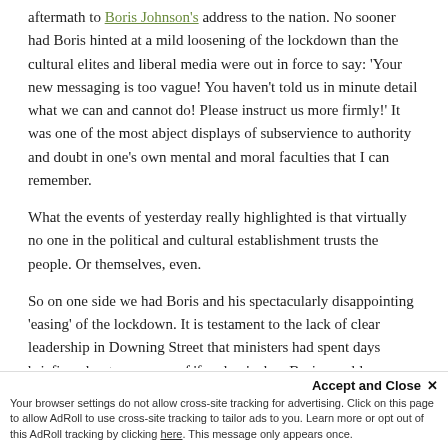aftermath to Boris Johnson's address to the nation. No sooner had Boris hinted at a mild loosening of the lockdown than the cultural elites and liberal media were out in force to say: ‘Your new messaging is too vague! You haven’t told us in minute detail what we can and cannot do! Please instruct us more firmly!’ It was one of the most abject displays of subservience to authority and doubt in one’s own mental and moral faculties that I can remember.
What the events of yesterday really highlighted is that virtually no one in the political and cultural establishment trusts the people. Or themselves, even.
So on one side we had Boris and his spectacularly disappointing ‘easing’ of the lockdown. It is testament to the lack of clear leadership in Downing Street that ministers had spent days briefing about a new era of ‘freedom’ when Boris would dramatically announce an easing of the lockdown’s burdens, but in the end all we got was the right to exercise more than once a day, the right to sit on a park bench, and the right to…
Accept and Close ×
Your browser settings do not allow cross-site tracking for advertising. Click on this page to allow AdRoll to use cross-site tracking to tailor ads to you. Learn more or opt out of this AdRoll tracking by clicking here. This message only appears once.